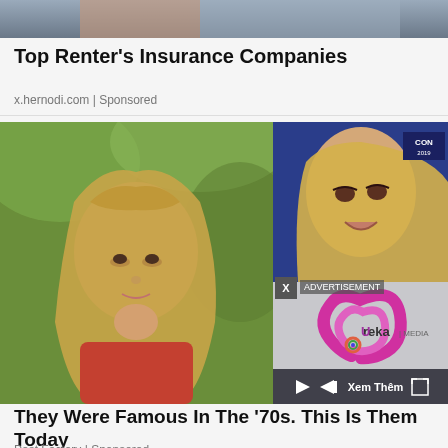[Figure (photo): Top partial image strip — cropped photo at the top of page]
Top Renter's Insurance Companies
x.hernodi.com | Sponsored
[Figure (photo): Two-panel image: left shows a young girl with long blonde hair in a red outfit against a green background; right shows an older blonde woman at what appears to be a CON 2019 event. An overlay video player shows the Ureka Media logo with a pink/magenta swirl, with play controls and 'Xem Thêm' text.]
They Were Famous In The '70s. This Is Them Today
Past Factory | Sponsored